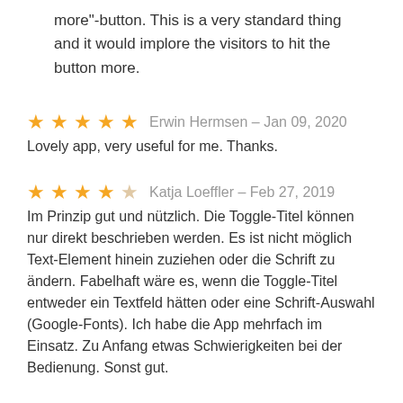more"-button. This is a very standard thing and it would implore the visitors to hit the button more.
★★★★★  Erwin Hermsen – Jan 09, 2020
Lovely app, very useful for me. Thanks.
★★★★☆  Katja Loeffler – Feb 27, 2019
Im Prinzip gut und nützlich. Die Toggle-Titel können nur direkt beschrieben werden. Es ist nicht möglich Text-Element hinein zuziehen oder die Schrift zu ändern. Fabelhaft wäre es, wenn die Toggle-Titel entweder ein Textfeld hätten oder eine Schrift-Auswahl (Google-Fonts). Ich habe die App mehrfach im Einsatz. Zu Anfang etwas Schwierigkeiten bei der Bedienung. Sonst gut.
★★★★☆  Vanessa Gonzales – Feb 06, 2019
Seems nice, but the line spacing in the title area (when